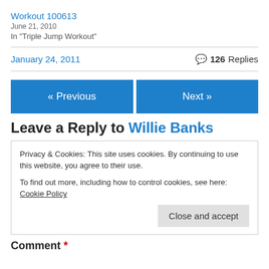Workout 100613
June 21, 2010
In "Triple Jump Workout"
January 24, 2011    126 Replies
« Previous
Next »
Leave a Reply to Willie Banks
Privacy & Cookies: This site uses cookies. By continuing to use this website, you agree to their use.
To find out more, including how to control cookies, see here: Cookie Policy
Close and accept
Comment *